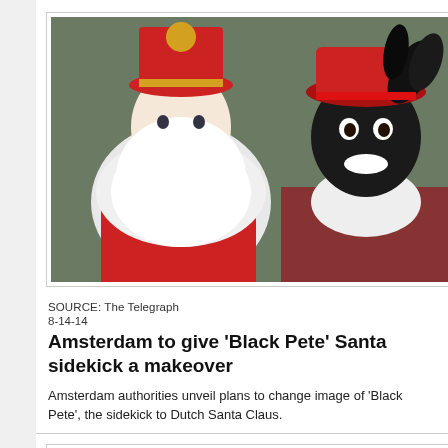[Figure (photo): Two people in costume: one dressed as Sinterklaas (Dutch Santa Claus) with white beard and red bishop hat, and another dressed as Zwarte Piet (Black Pete) with blackface makeup and red feathered hat.]
SOURCE: The Telegraph
8-14-14
Amsterdam to give 'Black Pete' Santa sidekick a makeover
Amsterdam authorities unveil plans to change image of 'Black Pete', the sidekick to Dutch Santa Claus.
[Figure (photo): A sign showing a cannabis leaf logo with text 'SEEDS' at the top and 'Homegrown Fa...' at the bottom, on a green background.]